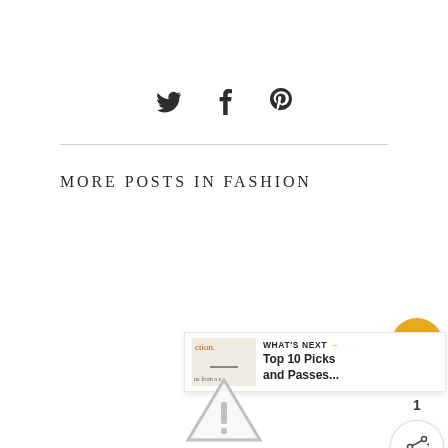[Figure (infographic): Social sharing icons: Twitter bird, Facebook f, Pinterest P in dark gray]
MORE POSTS IN FASHION
[Figure (infographic): Floating golden heart like button with count 1, pencil icon below, and a share button]
[Figure (infographic): What's Next widget with thumbnail and text: Top 10 Picks and Passes...]
[Figure (infographic): Warning triangle icon at bottom of page]